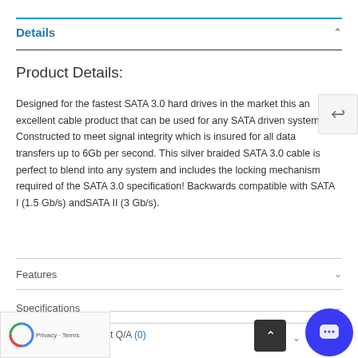Details
Product Details:
Designed for the fastest SATA 3.0 hard drives in the market this an excellent cable product that can be used for any SATA driven system. Constructed to meet signal integrity which is insured for all data transfers up to 6Gb per second. This silver braided SATA 3.0 cable is perfect to blend into any system and includes the locking mechanism required of the SATA 3.0 specification! Backwards compatible with SATA I (1.5 Gb/s) andSATA II (3 Gb/s).
Features
Specifications
t Q/A (0)